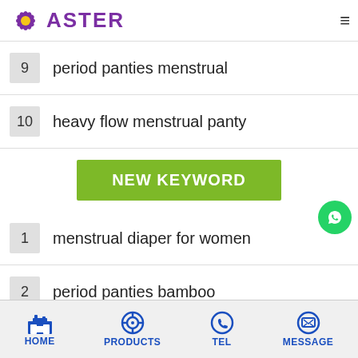ASTER
9  period panties menstrual
10  heavy flow menstrual panty
NEW KEYWORD
1  menstrual diaper for women
2  period panties bamboo
3  panties period women
HOME  PRODUCTS  TEL  MESSAGE